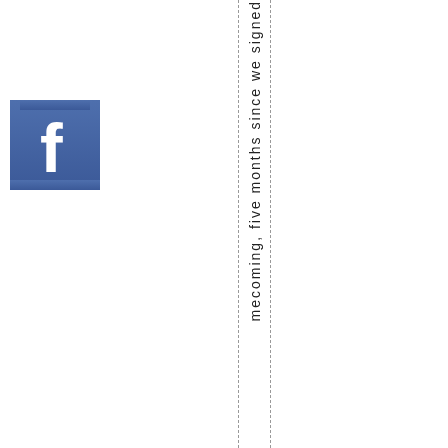[Figure (logo): Facebook logo icon — blue rounded square with white lowercase 'f']
mecoming, five months since we signed